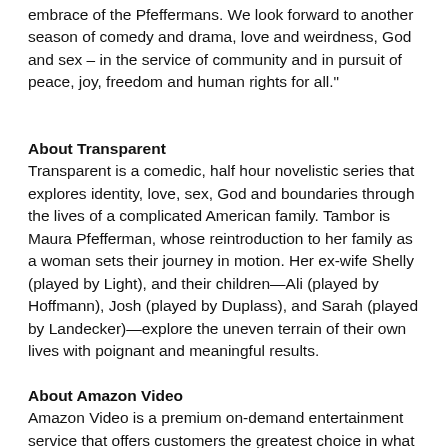embrace of the Pfeffermans. We look forward to another season of comedy and drama, love and weirdness, God and sex – in the service of community and in pursuit of peace, joy, freedom and human rights for all."
About Transparent
Transparent is a comedic, half hour novelistic series that explores identity, love, sex, God and boundaries through the lives of a complicated American family. Tambor is Maura Pfefferman, whose reintroduction to her family as a woman sets their journey in motion. Her ex-wife Shelly (played by Light), and their children—Ali (played by Hoffmann), Josh (played by Duplass), and Sarah (played by Landecker)—explore the uneven terrain of their own lives with poignant and meaningful results.
About Amazon Video
Amazon Video is a premium on-demand entertainment service that offers customers the greatest choice in what to watch, and how to watch it. Amazon Video is the only service that provides all of the following: